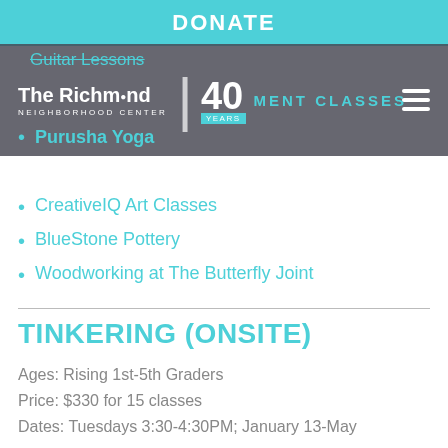DONATE
Guitar Lessons
[Figure (logo): The Richmond Neighborhood Center logo with 40 Years badge and ENROLLMENT CLASSES navigation text]
Purusha Yoga
CreativeIQ Art Classes
BlueStone Pottery
Woodworking at The Butterfly Joint
TINKERING (ONSITE)
Ages: Rising 1st-5th Graders
Price: $330 for 15 classes
Dates: Tuesdays 3:30-4:30PM; January 13-May